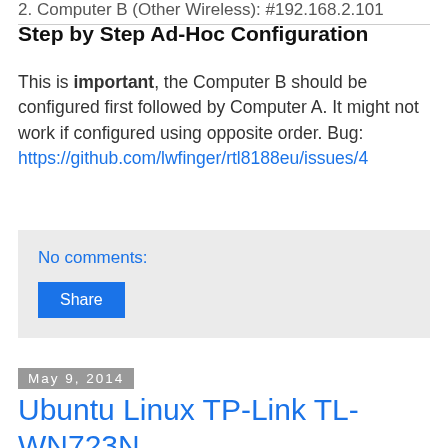2. Computer B (Other Wireless): #192.168.2.101
Step by Step Ad-Hoc Configuration
This is important, the Computer B should be configured first followed by Computer A. It might not work if configured using opposite order. Bug: https://github.com/lwfinger/rtl8188eu/issues/4
No comments:
Share
May 9, 2014
Ubuntu Linux TP-Link TL-WN723N Driver
Update
The more recent driver for TP-Link TL-WN723N can be found on https://github.com/lwfinger/rtl8188eu. This new driver address problem for kernel 3.8+. Do not forget to copy